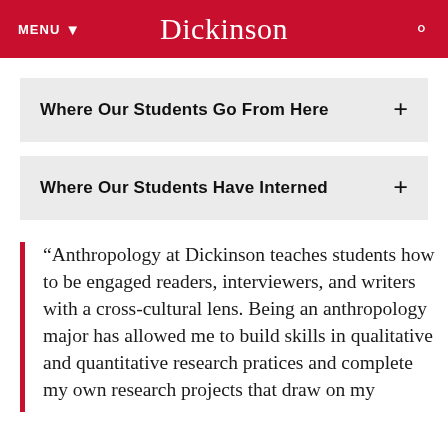MENU  Dickinson
Where Our Students Go From Here
Where Our Students Have Interned
“Anthropology at Dickinson teaches students how to be engaged readers, interviewers, and writers with a cross-cultural lens. Being an anthropology major has allowed me to build skills in qualitative and quantitative research pratices and complete my own research projects that draw on my